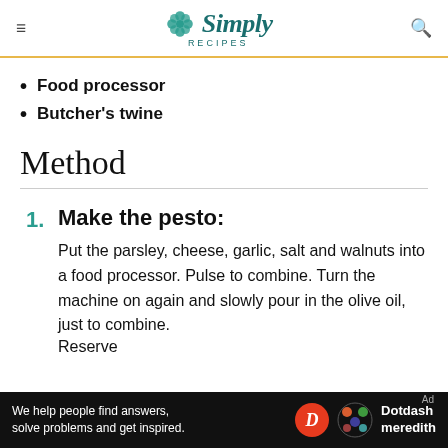Simply Recipes
Food processor
Butcher's twine
Method
1. Make the pesto: Put the parsley, cheese, garlic, salt and walnuts into a food processor. Pulse to combine. Turn the machine on again and slowly pour in the olive oil, just to combine. Reserve
[Figure (logo): Dotdash Meredith advertisement banner at bottom of page]